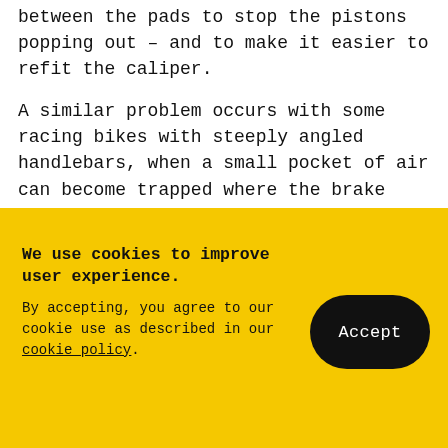between the pads to stop the pistons popping out – and to make it easier to refit the caliper.
A similar problem occurs with some racing bikes with steeply angled handlebars, when a small pocket of air can become trapped where the brake hose arches over the master cylinder. This can be remedied easily by re- routing the hose, or
We use cookies to improve user experience. By accepting, you agree to our cookie use as described in our cookie policy.